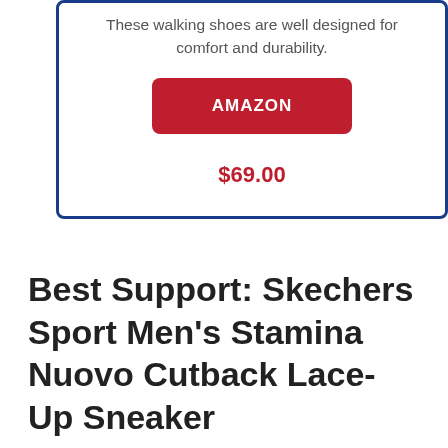These walking shoes are well designed for comfort and durability.
AMAZON
$69.00
Best Support: Skechers Sport Men's Stamina Nuovo Cutback Lace-Up Sneaker